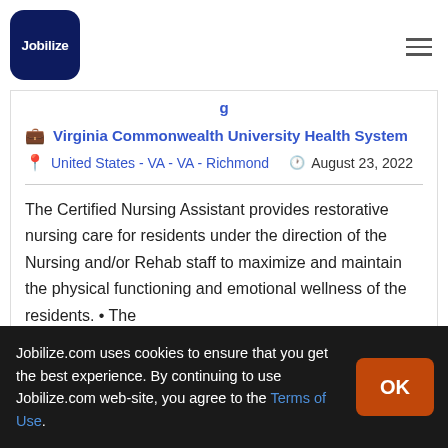Jobilize
Virginia Commonwealth University Health System
United States - VA - VA - Richmond   August 23, 2022
The Certified Nursing Assistant provides restorative nursing care for residents under the direction of the Nursing and/or Rehab staff to maximize and maintain the physical functioning and emotional wellness of the residents. • The
Jobilize.com uses cookies to ensure that you get the best experience. By continuing to use Jobilize.com web-site, you agree to the Terms of Use.